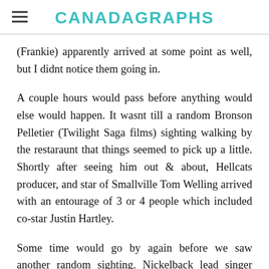CANADAGRAPHS
(Frankie) apparently arrived at some point as well, but I didnt notice them going in.
A couple hours would pass before anything would else would happen. It wasnt till a random Bronson Pelletier (Twilight Saga films) sighting walking by the restaraunt that things seemed to pick up a little. Shortly after seeing him out & about, Hellcats producer, and star of Smallville Tom Welling arrived with an entourage of 3 or 4 people which included co-star Justin Hartley.
Some time would go by again before we saw another random sighting. Nickelback lead singer Chad Kroeger